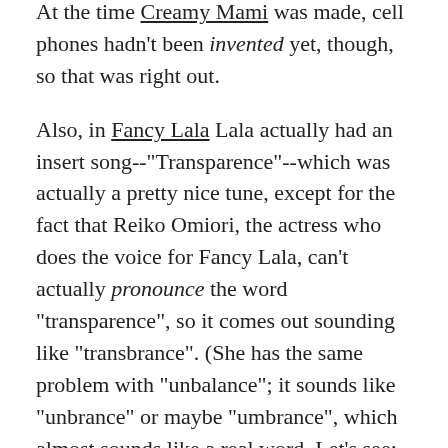At the time Creamy Mami was made, cell phones hadn't been invented yet, though, so that was right out.
Also, in Fancy Lala Lala actually had an insert song--"Transparence"--which was actually a pretty nice tune, except for the fact that Reiko Omiori, the actress who does the voice for Fancy Lala, can't actually pronounce the word "transparence", so it comes out sounding like "transbrance". (She has the same problem with "unbalance"; it sounds like "unbrance" or maybe "umbrance", which almost sounds like a real word. Let's see: http://www.dictionary.com says NO, no such word as "umbrance". Nice try, though.)
So, Creamy Mami is slipping in my non-scientific, self-selected poll with a total sample of one person: it's now 2.5 out of 5. But that's still reasonable. And you can't beat